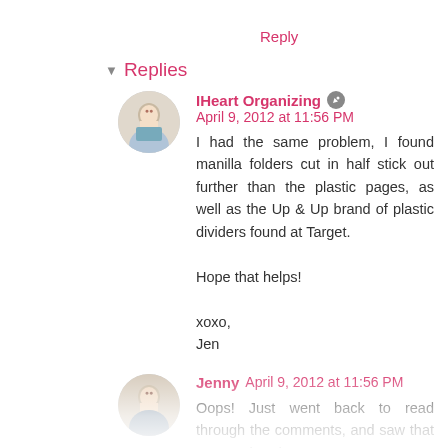Reply
Replies
IHeart Organizing  April 9, 2012 at 11:56 PM
I had the same problem, I found manilla folders cut in half stick out further than the plastic pages, as well as the Up & Up brand of plastic dividers found at Target.

Hope that helps!

xoxo,
Jen
Jenny  April 9, 2012 at 11:56 PM
Oops! Just went back to read through the comments, and saw that you've already answered my question about the dividers. :) I'm assuming you used the Up & Up brand dividers in your recipe binder since they don't look like